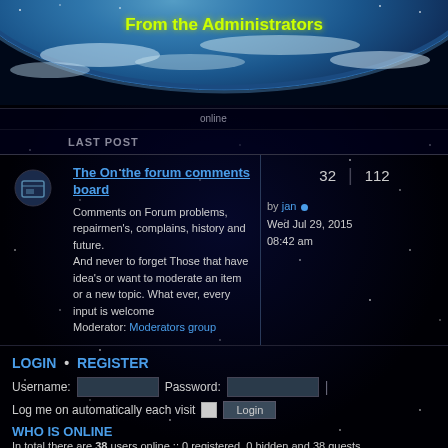From the Administrators
online
LAST POST
The On the forum comments board
Comments on Forum problems, repairmen's, complains, history and future.
And never to forget Those that have idea's or want to moderate an item or a new topic. What ever, every input is welcome
Moderator: Moderators group
32   112
by jan
Wed Jul 29, 2015 08:42 am
LOGIN • REGISTER
Username:  [input]  Password:  [input]
Log me on automatically each visit  [checkbox]  Login
WHO IS ONLINE
In total there are 38 users online :: 0 registered, 0 hidden and 38 guests (based on users active over the past 5 minutes)
Most users ever online was 1473 on Thu Dec 17, 2020 15:06 pm
Registered users: No registered users
Legend: Administrators, Global moderators
STATISTICS